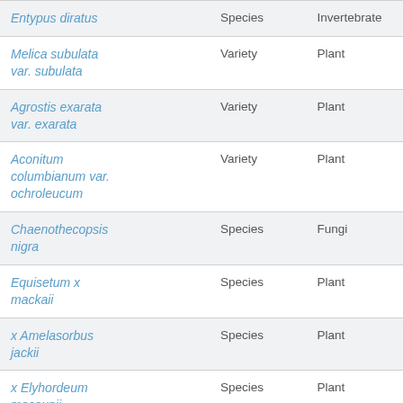| Name | Rank | Kingdom |
| --- | --- | --- |
| Entypus diratus | Species | Invertebrate |
| Melica subulata var. subulata | Variety | Plant |
| Agrostis exarata var. exarata | Variety | Plant |
| Aconitum columbianum var. ochroleucum | Variety | Plant |
| Chaenothecopsis nigra | Species | Fungi |
| Equisetum x mackaii | Species | Plant |
| x Amelasorbus jackii | Species | Plant |
| x Elyhordeum macounii | Species | Plant |
| Phlox... | Subspecies | Plant |